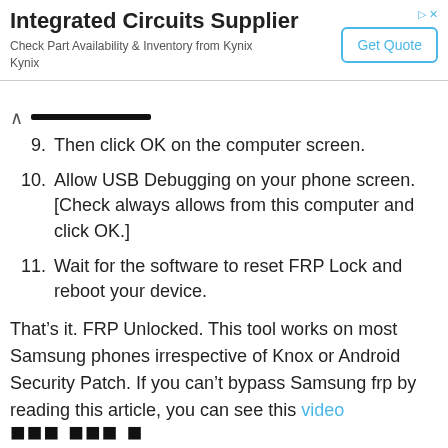[Figure (other): Advertisement banner for Integrated Circuits Supplier (Kynix). Title: 'Integrated Circuits Supplier'. Subtitle: 'Check Part Availability & Inventory from Kynix Kynix'. Button: 'Get Quote'. Ad icons top right.]
9. Then click OK on the computer screen.
10. Allow USB Debugging on your phone screen. [Check always allows from this computer and click OK.]
11. Wait for the software to reset FRP Lock and reboot your device.
That’s it. FRP Unlocked. This tool works on most Samsung phones irrespective of Knox or Android Security Patch. If you can’t bypass Samsung frp by reading this article, you can see this video